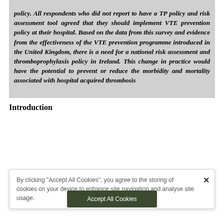policy. All respondents who did not report to have a TP policy and risk assessment tool agreed that they should implement VTE prevention policy at their hospital. Based on the data from this survey and evidence from the effectiveness of the VTE prevention programme introduced in the United Kingdom, there is a need for a national risk assessment and thromboprophylaxis policy in Ireland. This change in practice would have the potential to prevent or reduce the morbidity and mortality associated with hospital acquired thrombosis
Introduction
By clicking "Accept All Cookies", you agree to the storing of cookies on your device to enhance site navigation and analyse site usage.